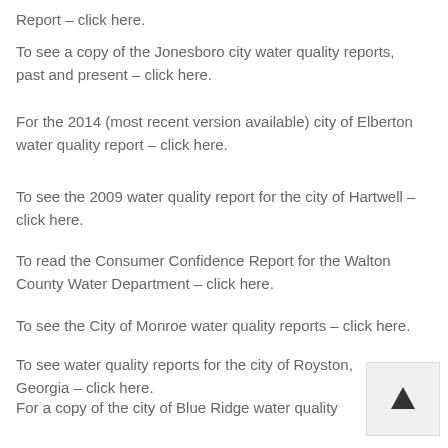Report – click here.
To see a copy of the Jonesboro city water quality reports, past and present – click here.
For the 2014 (most recent version available) city of Elberton water quality report – click here.
To see the 2009 water quality report for the city of Hartwell – click here.
To read the Consumer Confidence Report for the Walton County Water Department – click here.
To see the City of Monroe water quality reports – click here.
To see water quality reports for the city of Royston, Georgia – click here.
For a copy of the city of Blue Ridge water quality report – click here.
To see the most recent and previous water quality reports for the city of Milledgeville – click here.
For the Ball Ground, Georgia water quality report –